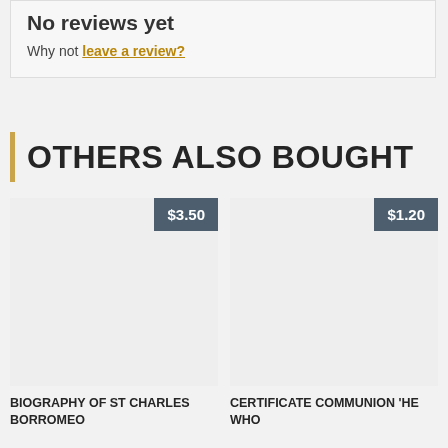No reviews yet
Why not leave a review?
OTHERS ALSO BOUGHT
[Figure (other): Product image placeholder with price badge $3.50]
BIOGRAPHY OF ST CHARLES BORROMEO
[Figure (other): Product image placeholder with price badge $1.20]
CERTIFICATE COMMUNION 'HE WHO